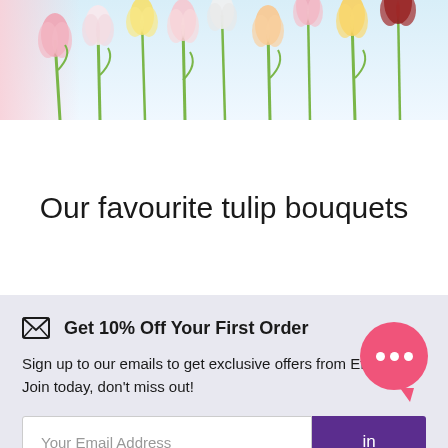[Figure (photo): Banner photograph of colorful tulip flowers (pink, yellow, white, red) against a light blue sky background]
Our favourite tulip bouquets
✉  Get 10% Off Your First Order
Sign up to our emails to get exclusive offers from Eflorist. Join today, don't miss out!
Your Email Address
eFlorist uses cookies. About our cookie policy